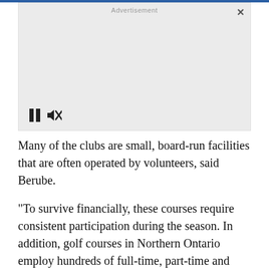[Figure (other): Advertisement placeholder box with pause and mute controls at bottom left, close button at top right, and 'Advertisement' label at top center.]
Many of the clubs are small, board-run facilities that are often operated by volunteers, said Berube.
"To survive financially, these courses require consistent participation during the season. In addition, golf courses in Northern Ontario employ hundreds of full-time, part-time and seasonal staff, and are significant contributors to many of your local economies," he